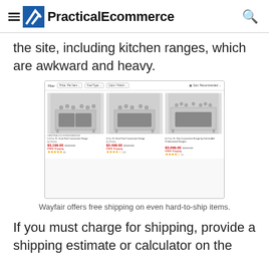PracticalEcommerce
the site, including kitchen ranges, which are awkward and heavy.
[Figure (screenshot): Screenshot of Wayfair product listing page showing three stainless steel kitchen ranges with prices ($3,199.00, $2,499.00, $3,099.00), free shipping labels, and star ratings, with filter options at the top.]
Wayfair offers free shipping on even hard-to-ship items.
If you must charge for shipping, provide a shipping estimate or calculator on the